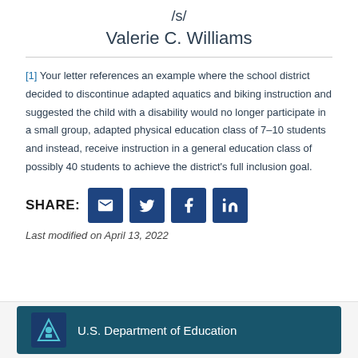/s/
Valerie C. Williams
[1] Your letter references an example where the school district decided to discontinue adapted aquatics and biking instruction and suggested the child with a disability would no longer participate in a small group, adapted physical education class of 7–10 students and instead, receive instruction in a general education class of possibly 40 students to achieve the district's full inclusion goal.
SHARE: [email] [twitter] [facebook] [linkedin]
Last modified on April 13, 2022
[Figure (logo): U.S. Department of Education logo and name on dark teal background]